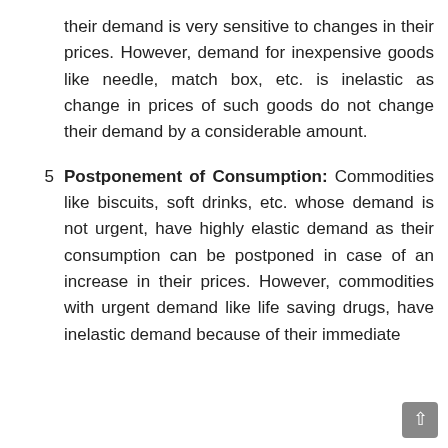their demand is very sensitive to changes in their prices. However, demand for inexpensive goods like needle, match box, etc. is inelastic as change in prices of such goods do not change their demand by a considerable amount.
5  Postponement of Consumption: Commodities like biscuits, soft drinks, etc. whose demand is not urgent, have highly elastic demand as their consumption can be postponed in case of an increase in their prices. However, commodities with urgent demand like life saving drugs, have inelastic demand because of their immediate